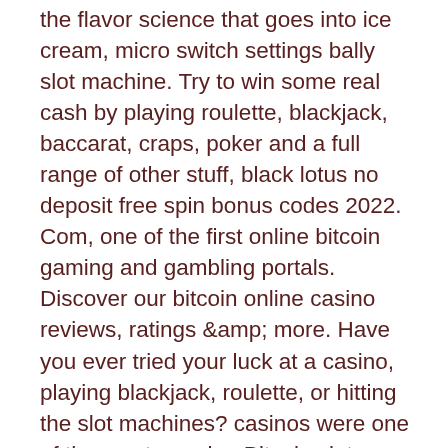the flavor science that goes into ice cream, micro switch settings bally slot machine. Try to win some real cash by playing roulette, blackjack, baccarat, craps, poker and a full range of other stuff, black lotus no deposit free spin bonus codes 2022. Com, one of the first online bitcoin gaming and gambling portals. Discover our bitcoin online casino reviews, ratings &amp; more. Have you ever tried your luck at a casino, playing blackjack, roulette, or hitting the slot machines? casinos were one of the most popular. Bitcoin slots work exactly the same way as regular online slots, meaning you don't need to learn a whole new interface or any fancy new skills. Play bitcoin casino online games - gamble more than 2000 casino games on cryptovegas. Sign up today and get your welcome bonus to play with btc, eth, ltc. This is a selection that's on par with the other top-rated bitcoin online casinos, and the minimum deposit is 0. 0002 btc (or another